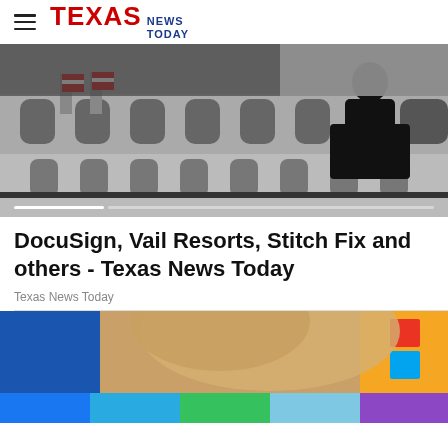TEXAS NEWS TODAY
[Figure (photo): Black and white photo of a person silhouetted walking past the New York Stock Exchange building with American flags visible]
DocuSign, Vail Resorts, Stitch Fix and others - Texas News Today
Texas News Today
[Figure (photo): Partial view of a person with blonde hair against a colorful background with blue, green and orange sections]